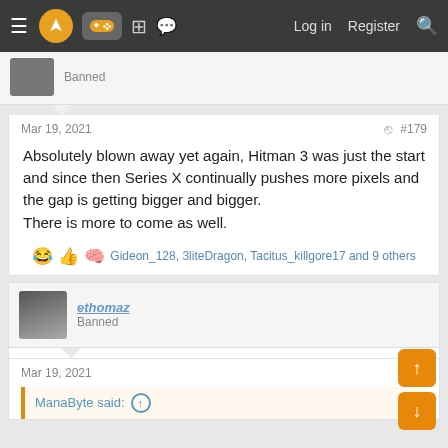Navigation bar with logo, gamepad icon, grid, chat, Log in, Register, Search
Banned
Mar 19, 2021  #179
Absolutely blown away yet again, Hitman 3 was just the start and since then Series X continually pushes more pixels and the gap is getting bigger and bigger.
There is more to come as well.
Gideon_128, 3liteDragon, Tacitus_killgore17 and 9 others
ethomaz
Banned
Mar 19, 2021
ManaByte said: